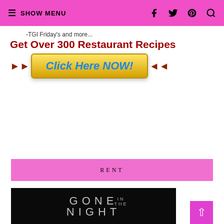≡ SHOW MENU [facebook] [twitter] [pinterest] [search]
[Figure (other): Advertisement banner: '-TGI Friday's and more... Get Over 300 Restaurant Recipes' with a yellow 'Click Here NOW!' button flanked by arrow graphics]
RENT
[Figure (other): Movie poster for 'Gone In The Night' - dark image with movie title text and a person visible in the lower portion]